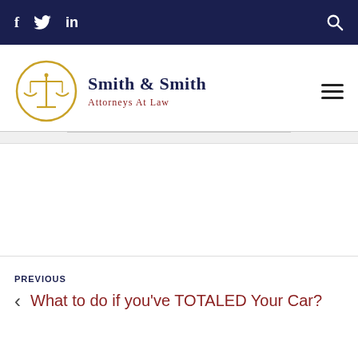f  Twitter  in  [search icon]
[Figure (logo): Smith & Smith Attorneys At Law logo with scales of justice emblem in gold circle, firm name in navy blue serif font, tagline in dark red]
PREVIOUS
< What to do if you've TOTALED Your Car?